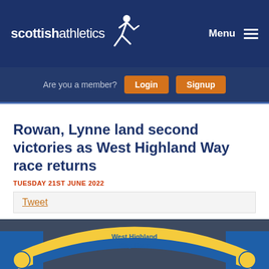scottishathletics — Menu
Are you a member? Login Signup
Rowan, Lynne land second victories as West Highland Way race returns
TUESDAY 21ST JUNE 2022
Tweet
[Figure (photo): Group of people standing under a yellow and blue inflatable arch branded 'West Highland Way Race' with a FINISHER banner behind them]